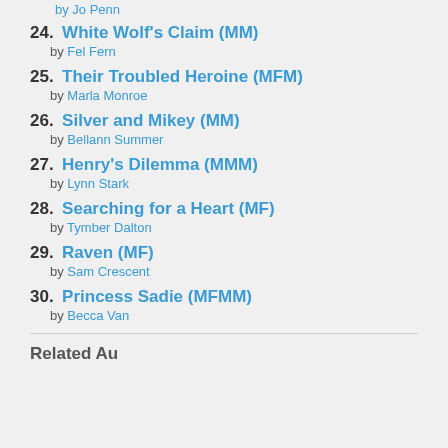by Jo Penn
24. White Wolf's Claim (MM) by Fel Fern
25. Their Troubled Heroine (MFM) by Marla Monroe
26. Silver and Mikey (MM) by Bellann Summer
27. Henry's Dilemma (MMM) by Lynn Stark
28. Searching for a Heart (MF) by Tymber Dalton
29. Raven (MF) by Sam Crescent
30. Princess Sadie (MFMM) by Becca Van
Related Authors